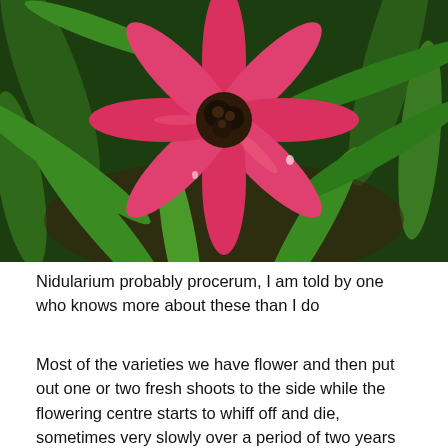[Figure (photo): Close-up photograph of a Nidularium probably procerum plant with bright pink/red star-shaped bracts radiating from the center, surrounded by green strap-like leaves. The center contains a dark brownish flower cluster. Background shows more green foliage.]
Nidularium probably procerum, I am told by one who knows more about these than I do
Most of the varieties we have flower and then put out one or two fresh shoots to the side while the flowering centre starts to whiff off and die, sometimes very slowly over a period of two years or more if left alone. Once they start to